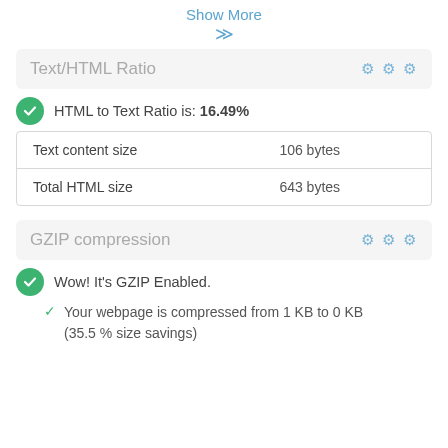Show More
Text/HTML Ratio
HTML to Text Ratio is: 16.49%
| Text content size | 106 bytes |
| Total HTML size | 643 bytes |
GZIP compression
Wow! It's GZIP Enabled.
Your webpage is compressed from 1 KB to 0 KB (35.5 % size savings)